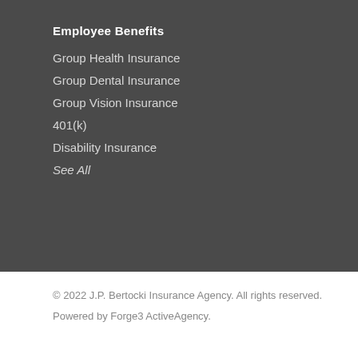Employee Benefits
Group Health Insurance
Group Dental Insurance
Group Vision Insurance
401(k)
Disability Insurance
See All
© 2022 J.P. Bertocki Insurance Agency. All rights reserved. Powered by Forge3 ActiveAgency.